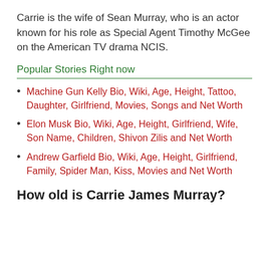Carrie is the wife of Sean Murray, who is an actor known for his role as Special Agent Timothy McGee on the American TV drama NCIS.
Popular Stories Right now
Machine Gun Kelly Bio, Wiki, Age, Height, Tattoo, Daughter, Girlfriend, Movies, Songs and Net Worth
Elon Musk Bio, Wiki, Age, Height, Girlfriend, Wife, Son Name, Children, Shivon Zilis and Net Worth
Andrew Garfield Bio, Wiki, Age, Height, Girlfriend, Family, Spider Man, Kiss, Movies and Net Worth
How old is Carrie James Murray?